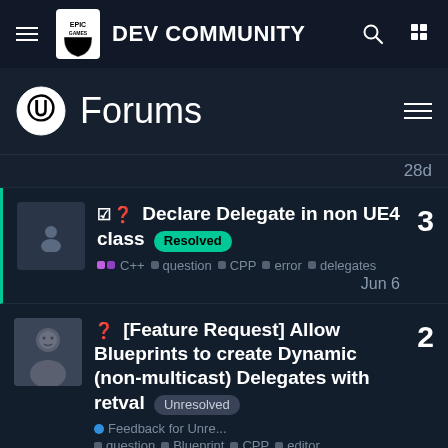Epic Games DEV COMMUNITY
Forums
28d
Declare Delegate in non UE4 class Resolved
C++ question CPP error delegates Jun 6  3
[Feature Request] Allow Blueprints to create Dynamic (non-multicast) Delegates with retval Unresolved
Feedback for Unre... question Blueprint CPP editor FeatureRequest delegates 0 votes  2